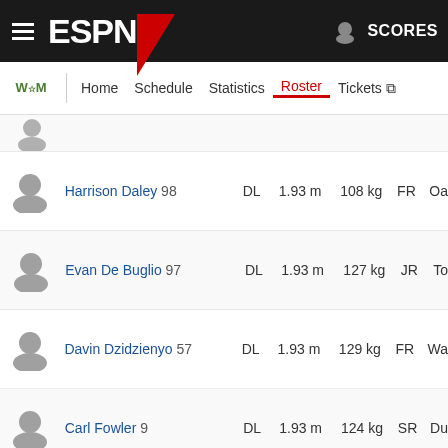ESPN navigation bar with hamburger menu, ESPN logo, and SCORES
William & Mary team navigation: Home, Schedule, Statistics, Roster (active), Tickets
| Player | Pos | Height | Weight | Year | Location |
| --- | --- | --- | --- | --- | --- |
| Harrison Daley 98 | DL | 1.93 m | 108 kg | FR | Oa |
| Evan De Buglio 97 | DL | 1.93 m | 127 kg | JR | To |
| Davin Dzidzienyo 57 | DL | 1.93 m | 129 kg | FR | Wa |
| Carl Fowler 9 | DL | 1.93 m | 124 kg | SR | Du |
| Garrett Huyck 94 | DL | 1.96 m | 131 kg | SO | Ch |
| Nate Lynn 99 | DL | 1.91 m | 120 kg | JR | Ch |
| Sammy Sarantis 91 | DL | 1.93 m | 120 kg | SO | Oa |
| Tanner Slavic 90 | DL | 1.96 m | 111 kg | FR | Un |
| (partial row) | DL | 1.9x m | 10x kg | FR |  |